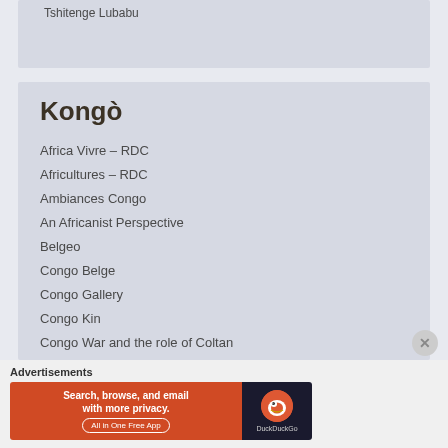Tshitenge Lubabu
Kongò
Africa Vivre – RDC
Africultures – RDC
Ambiances Congo
An Africanist Perspective
Belgeo
Congo Belge
Congo Gallery
Congo Kin
Congo War and the role of Coltan
Advertisements
[Figure (screenshot): DuckDuckGo advertisement banner: 'Search, browse, and email with more privacy. All in One Free App' on orange background with DuckDuckGo logo on dark background]